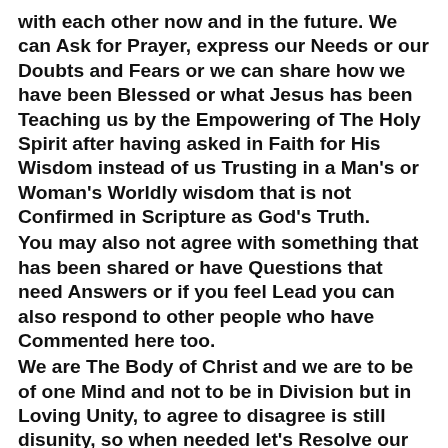with each other now and in the future. We can Ask for Prayer, express our Needs or our Doubts and Fears or we can share how we have been Blessed or what Jesus has been Teaching us by the Empowering of The Holy Spirit after having asked in Faith for His Wisdom instead of us Trusting in a Man's or Woman's Worldly wisdom that is not Confirmed in Scripture as God's Truth.
You may also not agree with something that has been shared or have Questions that need Answers or if you feel Lead you can also respond to other people who have Commented here too.
We are The Body of Christ and we are to be of one Mind and not to be in Division but in Loving Unity, to agree to disagree is still disunity, so when needed let's Resolve our differences together in this Garden